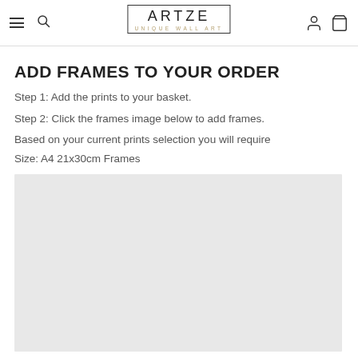ARTZE UNIQUE WALL ART
ADD FRAMES TO YOUR ORDER
Step 1: Add the prints to your basket.
Step 2: Click the frames image below to add frames.
Based on your current prints selection you will require
Size: A4 21x30cm Frames
[Figure (photo): Light grey rectangular placeholder image for frames product]